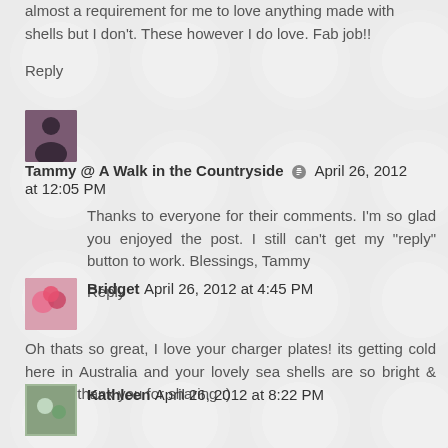almost a requirement for me to love anything made with shells but I don't. These however I do love. Fab job!!
Reply
Tammy @ A Walk in the Countryside  April 26, 2012 at 12:05 PM
Thanks to everyone for their comments. I'm so glad you enjoyed the post. I still can't get my "reply" button to work. Blessings, Tammy
Reply
Bridget  April 26, 2012 at 4:45 PM
Oh thats so great, I love your charger plates! its getting cold here in Australia and your lovely sea shells are so bright & cheery, thank you for sharing :)
Reply
Kathleen  April 26, 2012 at 8:22 PM